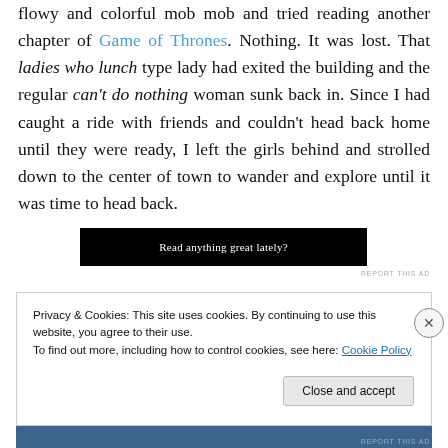flowy and colorful mob mob and tried reading another chapter of Game of Thrones. Nothing. It was lost. That ladies who lunch type lady had exited the building and the regular can't do nothing woman sunk back in. Since I had caught a ride with friends and couldn't head back home until they were ready, I left the girls behind and strolled down to the center of town to wander and explore until it was time to head back.
[Figure (other): Black banner advertisement with white text reading 'Read anything great lately?']
REPORT THIS AD
Privacy & Cookies: This site uses cookies. By continuing to use this website, you agree to their use. To find out more, including how to control cookies, see here: Cookie Policy
Close and accept